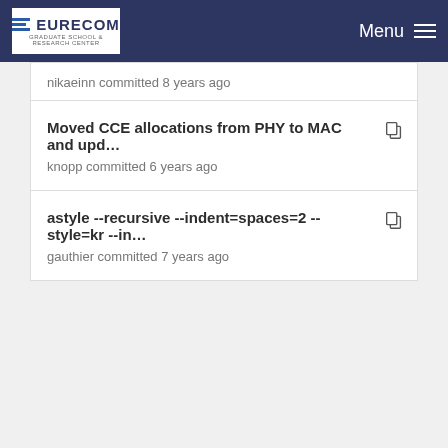EURECOM  Menu
nikaeinn committed 8 years ago
Moved CCE allocations from PHY to MAC and upd...
knopp committed 6 years ago
astyle --recursive --indent=spaces=2 --style=kr --in...
gauthier committed 7 years ago